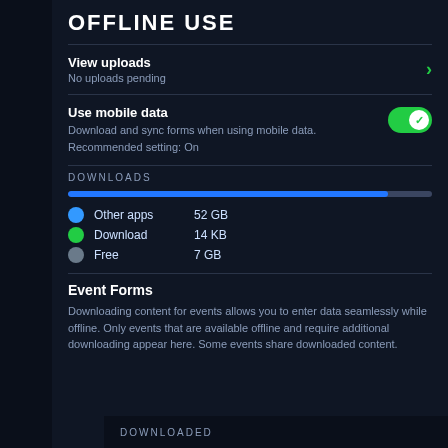OFFLINE USE
View uploads
No uploads pending
Use mobile data
Download and sync forms when using mobile data. Recommended setting: On
DOWNLOADS
[Figure (infographic): Horizontal progress bar showing storage usage. Blue fill for Other apps (52 GB), green for Download (14 KB), remaining gray for Free (7 GB). Legend: Other apps 52 GB, Download 14 KB, Free 7 GB.]
Event Forms
Downloading content for events allows you to enter data seamlessly while offline. Only events that are available offline and require additional downloading appear here. Some events share downloaded content.
DOWNLOADED